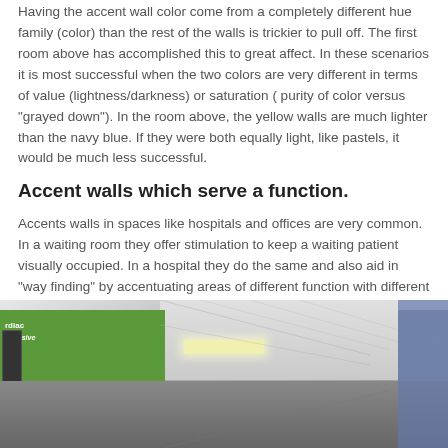Having the accent wall color come from a completely different hue family (color) than the rest of the walls is trickier to pull off. The first room above has accomplished this to great affect. In these scenarios it is most successful when the two colors are very different in terms of value (lightness/darkness) or saturation ( purity of color versus "grayed down"). In the room above, the yellow walls are much lighter than the navy blue. If they were both equally light, like pastels, it would be much less successful.
Accent walls which serve a function.
Accents walls in spaces like hospitals and offices are very common. In a waiting room they offer stimulation to keep a waiting patient visually occupied. In a hospital they do the same and also aid in "way finding" by accentuating areas of different function with different colors.
[Figure (photo): Hospital corridor with green accent wall on the left side, a sign reading 'Cardiac Intensive Care', white ceiling tiles with a fluorescent light, and a dark blue door/wall on the right side.]